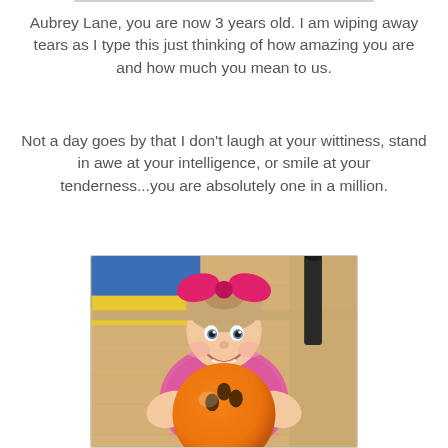Aubrey Lane, you are now 3 years old. I am wiping away tears as I type this just thinking of how amazing you are and how much you mean to us.
Not a day goes by that I don't laugh at your wittiness, stand in awe at your intelligence, or smile at your tenderness...you are absolutely one in a million.
[Figure (photo): A young girl (toddler) wearing a pink outfit and a large pink bow in her hair, holding an orange bowling ball at a bowling alley.]